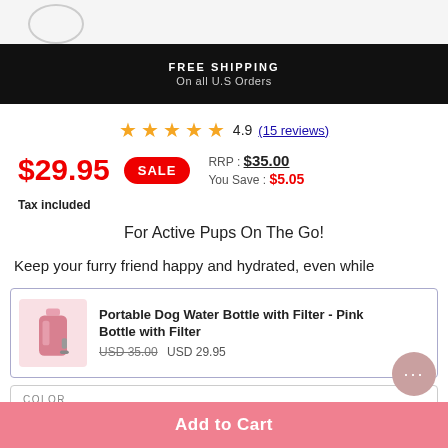FREE SHIPPING On all U.S Orders
4.9 (15 reviews)
$29.95 SALE RRP: $35.00 You Save: $5.05 Tax included
For Active Pups On The Go!
Keep your furry friend happy and hydrated, even while
[Figure (photo): Product card showing Portable Dog Water Bottle with Filter - Pink Bottle with Filter, with thumbnail image, original price USD 35.00 and sale price USD 29.95]
COLOR
Pink Bottle with Filter
Add to Cart